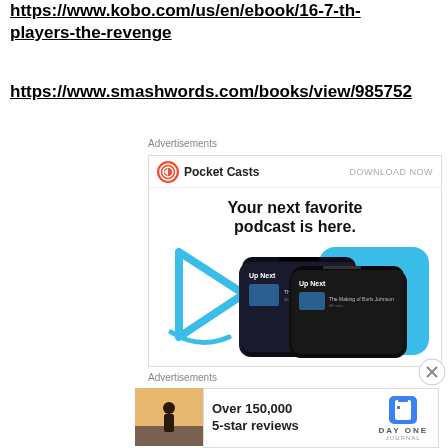https://www.kobo.com/us/en/ebook/16-7-th-players-the-revenge
https://www.smashwords.com/books/view/985752
Advertisements
[Figure (infographic): Pocket Casts advertisement: logo with text 'Pocket Casts', 'DOWNLOAD NOW', tagline 'Your next favorite podcast is here.' and smartphone mockup images]
Advertisements
[Figure (infographic): Day One Journal advertisement: photo of person, text 'Over 150,000 5-star reviews', Day One Journal logo]